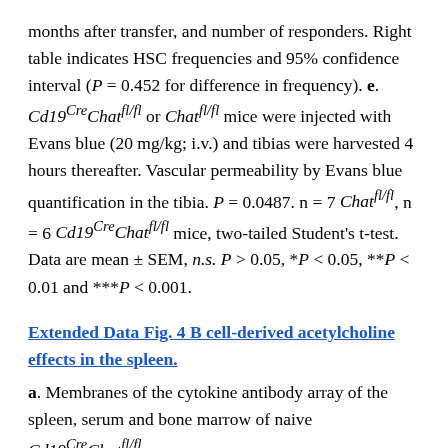months after transfer, and number of responders. Right table indicates HSC frequencies and 95% confidence interval (P = 0.452 for difference in frequency). e. Cd19CreChatfl/fl or Chatfl/fl mice were injected with Evans blue (20 mg/kg; i.v.) and tibias were harvested 4 hours thereafter. Vascular permeability by Evans blue quantification in the tibia. P = 0.0487. n = 7 Chatfl/fl, n = 6 Cd19CreChatfl/fl mice, two-tailed Student's t-test. Data are mean ± SEM, n.s. P > 0.05, *P < 0.05, **P < 0.01 and ***P < 0.001.
Extended Data Fig. 4 B cell-derived acetylcholine effects in the spleen.
a. Membranes of the cytokine antibody array of the spleen, serum and bone marrow of naive Cd19CreChatfl/fl